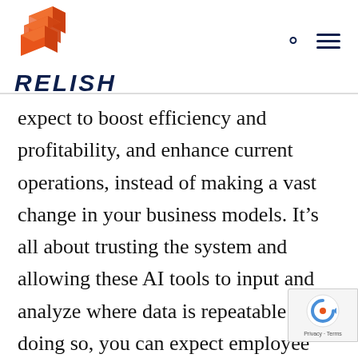RELISH
expect to boost efficiency and profitability, and enhance current operations, instead of making a vast change in your business models. It’s all about trusting the system and allowing these AI tools to input and analyze where data is repeatable. By doing so, you can expect employee satisfaction as automation replaces rote, or